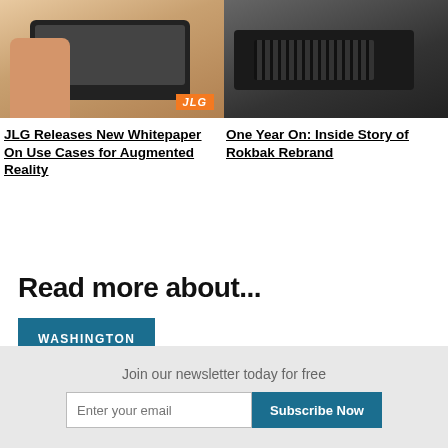[Figure (photo): Person holding a tablet device with JLG branding badge in bottom right corner]
[Figure (photo): Close-up of industrial machine or equipment, dark colored]
JLG Releases New Whitepaper On Use Cases for Augmented Reality
One Year On: Inside Story of Rokbak Rebrand
Read more about...
WASHINGTON
Join our newsletter today for free